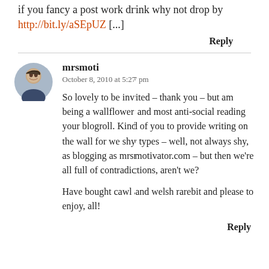if you fancy a post work drink why not drop by http://bit.ly/aSEpUZ [...]
Reply
mrsmoti
October 8, 2010 at 5:27 pm

So lovely to be invited – thank you – but am being a wallflower and most anti-social reading your blogroll. Kind of you to provide writing on the wall for we shy types – well, not always shy, as blogging as mrsmotivator.com – but then we're all full of contradictions, aren't we?

Have bought cawl and welsh rarebit and please to enjoy, all!
Reply